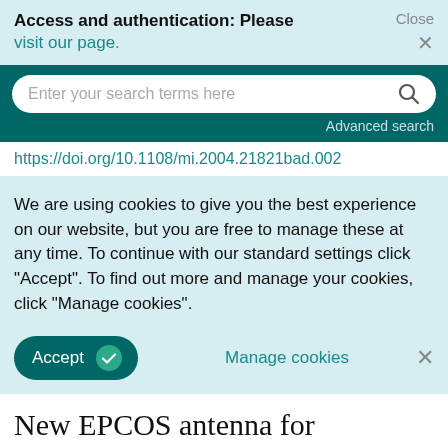Access and authentication: Please visit our page.
Close ×
Enter your search terms here
Advanced search
https://doi.org/10.1108/mi.2004.21821bad.002
We are using cookies to give you the best experience on our website, but you are free to manage these at any time. To continue with our standard settings click "Accept". To find out more and manage your cookies, click "Manage cookies".
Accept ✓   Manage cookies  ×
New EPCOS antenna for Bluetooth